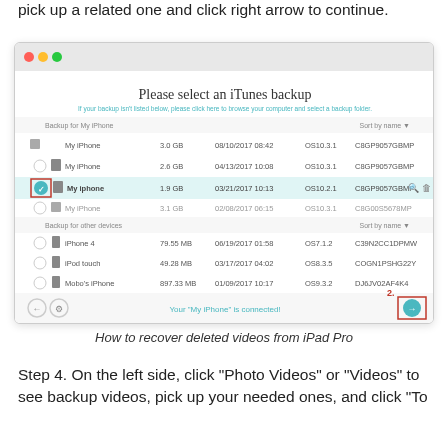pick up a related one and click right arrow to continue.
[Figure (screenshot): iTunes backup selection screen showing a list of device backups. A backup named 'My iphone' dated 03/21/2017 10:13 is selected (highlighted in light teal), labeled with '1.' and a red box around a checkmark icon. A teal right-arrow button in the bottom-right corner is labeled '2.' with a red box around it. The screen shows multiple device backups under 'Backup for My iPhone' and 'Backup for other devices' sections including iPhone 4, iPod touch, and Mobo's iPhone entries. The bottom center shows 'Your "My iPhone" is connected' in teal text.]
How to recover deleted videos from iPad Pro
Step 4. On the left side, click “Photo Videos” or “Videos” to see backup videos, pick up your needed ones, and click “To